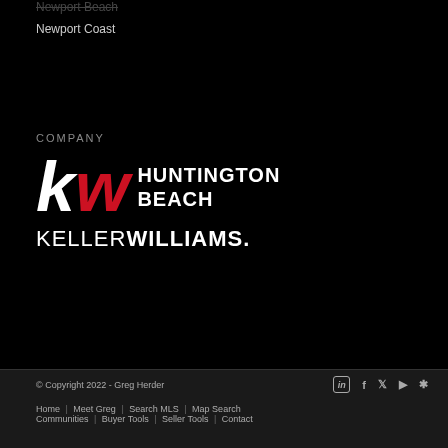Newport Beach
Newport Coast
COMPANY
[Figure (logo): Keller Williams Huntington Beach logo: KW letters in red/white italic with HUNTINGTON BEACH text, and KELLERWILLIAMS. wordmark below]
© Copyright 2022 - Greg Herder | Home | Meet Greg | Search MLS | Map Search | Communities | Buyer Tools | Seller Tools | Contact